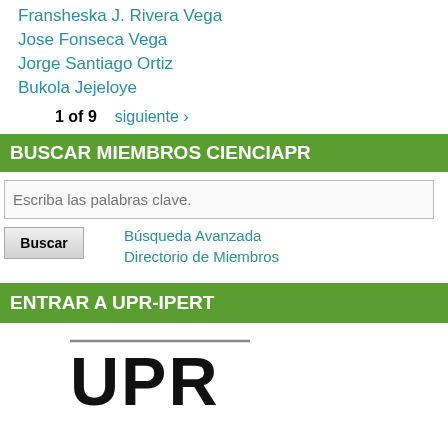Fransheska J. Rivera Vega
Jose Fonseca Vega
Jorge Santiago Ortiz
Bukola Jejeloye
1 of 9   siguiente ›
BUSCAR MIEMBROS CIENCIAPR
Escriba las palabras clave.
Buscar   Búsqueda Avanzada   Directorio de Miembros
ENTRAR A UPR-IPERT
[Figure (logo): UPR logo in black text on white background]